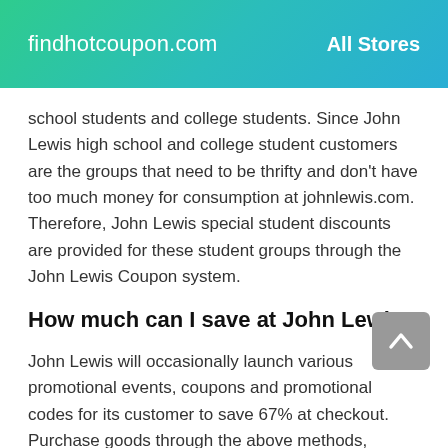findhotcoupon.com    All Stores
school students and college students. Since John Lewis high school and college student customers are the groups that need to be thrifty and don't have too much money for consumption at johnlewis.com. Therefore, John Lewis special student discounts are provided for these student groups through the John Lewis Coupon system.
How much can I save at John Lewis?
John Lewis will occasionally launch various promotional events, coupons and promotional codes for its customer to save 67% at checkout. Purchase goods through the above methods, according to the Coupon usage data obtained in real time, users will save £31 on average before August!